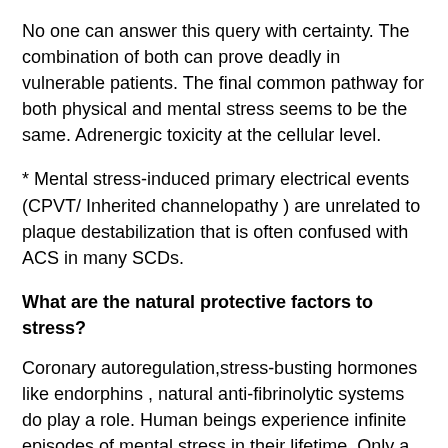No one can answer this query with certainty. The combination of both can prove deadly in vulnerable patients. The final common pathway for both physical and mental stress seems to be the same. Adrenergic toxicity at the cellular level.
* Mental stress-induced primary electrical events (CPVT/ Inherited channelopathy ) are unrelated to plaque destabilization that is often confused with ACS in many SCDs.
What are the natural protective factors to stress?
Coronary autoregulation,stress-busting hormones like endorphins , natural anti-fibrinolytic systems do play a role. Human beings experience infinite episodes of mental stress in their lifetime. Only a fraction (of a fraction ) result